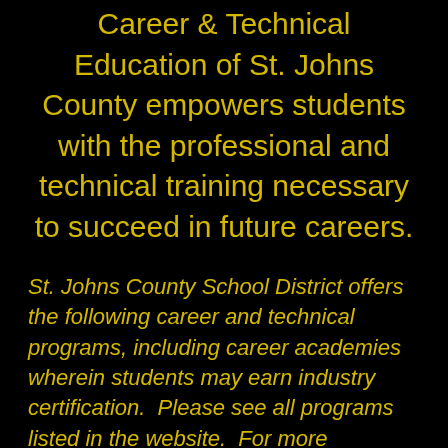Career & Technical Education of St. Johns County empowers students with the professional and technical training necessary to succeed in future careers.
St. Johns County School District offers the following career and technical programs, including career academies wherein students may earn industry certification.  Please see all programs listed in the website.  For more information on the application process, see the